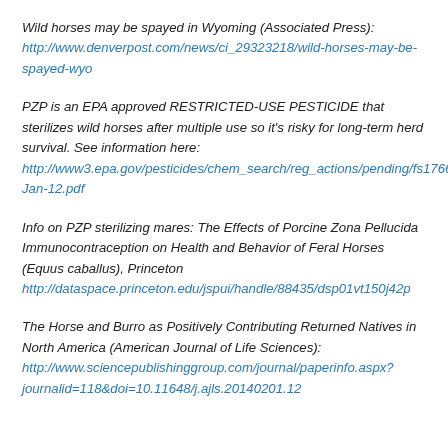Wild horses may be spayed in Wyoming (Associated Press): http://www.denverpost.com/news/ci_29323218/wild-horses-may-be-spayed-wyo
PZP is an EPA approved RESTRICTED-USE PESTICIDE that sterilizes wild horses after multiple use so it's risky for long-term herd survival. See information here: http://www3.epa.gov/pesticides/chem_search/reg_actions/pending/fs176603_01-Jan-12.pdf
Info on PZP sterilizing mares: The Effects of Porcine Zona Pellucida Immunocontraception on Health and Behavior of Feral Horses (Equus caballus), Princeton http://dataspace.princeton.edu/jspui/handle/88435/dsp01vt150j42p
The Horse and Burro as Positively Contributing Returned Natives in North America (American Journal of Life Sciences): http://www.sciencepublishinggroup.com/journal/paperinfo.aspx?journalid=118&doi=10.11648/j.ajls.20140201.12